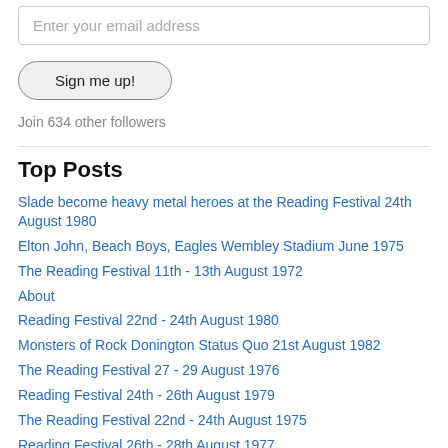Enter your email address
Sign me up!
Join 634 other followers
Top Posts
Slade become heavy metal heroes at the Reading Festival 24th August 1980
Elton John, Beach Boys, Eagles Wembley Stadium June 1975
The Reading Festival 11th - 13th August 1972
About
Reading Festival 22nd - 24th August 1980
Monsters of Rock Donington Status Quo 21st August 1982
The Reading Festival 27 - 29 August 1976
Reading Festival 24th - 26th August 1979
The Reading Festival 22nd - 24th August 1975
Reading Festival 26th - 28th August 1977